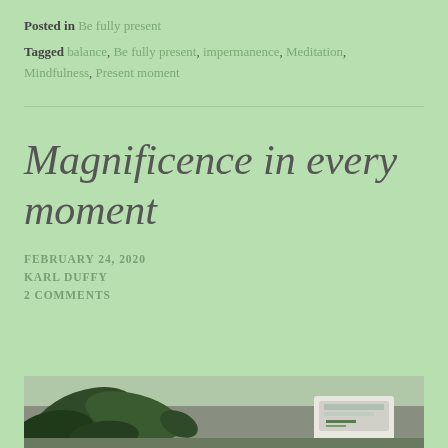Posted in Be fully present
Tagged balance, Be fully present, impermanence, Meditation, Mindfulness, Present moment
Magnificence in every moment
FEBRUARY 24, 2020
KARL DUFFY
2 COMMENTS
[Figure (photo): Bottom portion of a photograph showing green plant leaves and what appears to be a white container or package on a surface]